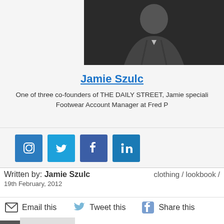[Figure (photo): Black and white portrait photo of Jamie Szulc, a man in a dark suit with arms crossed]
Jamie Szulc
One of three co-founders of THE DAILY STREET, Jamie specialises in... Footwear Account Manager at Fred P...
[Figure (infographic): Social media icons row: Instagram, Twitter, Facebook, LinkedIn]
Written by: Jamie Szulc    clothing / lookbook /
19th February, 2012
Email this   Tweet this   Share this
Previous Post